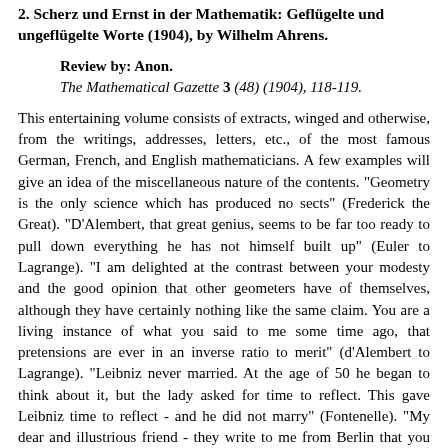2. Scherz und Ernst in der Mathematik: Geflügelte und ungeflügelte Worte (1904), by Wilhelm Ahrens.
Review by: Anon.
The Mathematical Gazette 3 (48) (1904), 118-119.
This entertaining volume consists of extracts, winged and otherwise, from the writings, addresses, letters, etc., of the most famous German, French, and English mathematicians. A few examples will give an idea of the miscellaneous nature of the contents. "Geometry is the only science which has produced no sects" (Frederick the Great). "D'Alembert, that great genius, seems to be far too ready to pull down everything he has not himself built up" (Euler to Lagrange). "I am delighted at the contrast between your modesty and the good opinion that other geometers have of themselves, although they have certainly nothing like the same claim. You are a living instance of what you said to me some time ago, that pretensions are ever in an inverse ratio to merit" (d'Alembert to Lagrange). "Leibniz never married. At the age of 50 he began to think about it, but the lady asked for time to reflect. This gave Leibniz time to reflect - and he did not marry" (Fontenelle). "My dear and illustrious friend - they write to me from Berlin that you are about to take what we philosophers call 'le saut perilleux,' and that